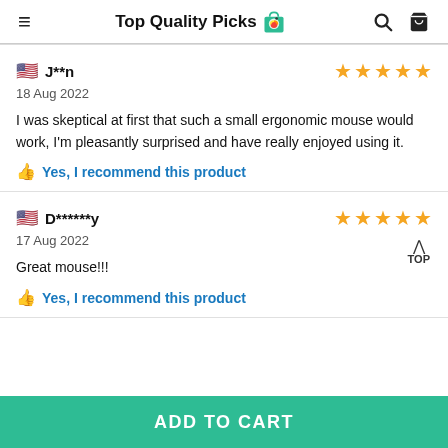Top Quality Picks
J**n
18 Aug 2022
I was skeptical at first that such a small ergonomic mouse would work, I'm pleasantly surprised and have really enjoyed using it.
Yes, I recommend this product
D******y
17 Aug 2022
Great mouse!!!
Yes, I recommend this product
ADD TO CART